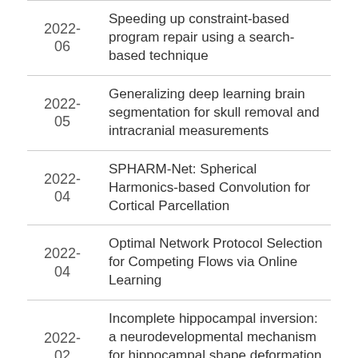| Date | Title |
| --- | --- |
| 2022-06 | Speeding up constraint-based program repair using a search-based technique |
| 2022-05 | Generalizing deep learning brain segmentation for skull removal and intracranial measurements |
| 2022-04 | SPHARM-Net: Spherical Harmonics-based Convolution for Cortical Parcellation |
| 2022-04 | Optimal Network Protocol Selection for Competing Flows via Online Learning |
| 2022-02 | Incomplete hippocampal inversion: a neurodevelopmental mechanism for hippocampal shape deformation in schizophrenia |